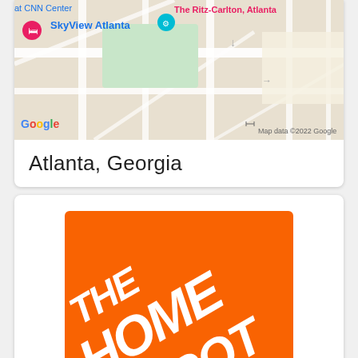[Figure (map): Google Maps view of Atlanta area showing SkyView Atlanta, The Ritz-Carlton Atlanta, CNN Center labels, map data 2022 Google watermark]
Atlanta, Georgia
[Figure (logo): The Home Depot logo - orange square with white diagonal THE HOME DEPOT text and registered trademark symbol]
The Home Depot